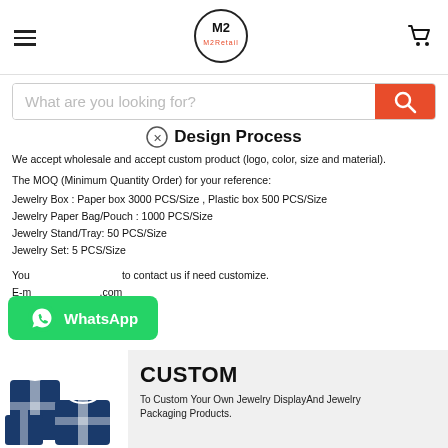M2 Retail logo, navigation hamburger, cart icon
[Figure (screenshot): Search bar with placeholder 'What are you looking for?' and orange search button]
Design Process
We accept wholesale and accept custom product (logo, color, size and material).

The MOQ (Minimum Quantity Order) for your reference:
Jewelry Box : Paper box  3000 PCS/Size ,  Plastic box 500 PCS/Size
Jewelry Paper Bag/Pouch : 1000 PCS/Size
Jewelry Stand/Tray: 50 PCS/Size
Jewelry Set: 5 PCS/Size

You are welcome to contact us if need customize.
E-mail: ...@....com
We will try our best to serve you!
[Figure (logo): WhatsApp button overlay with green background, WhatsApp icon and text 'WhatsApp']
[Figure (photo): Gift boxes image in dark blue with white ribbons at bottom left]
CUSTOM
To Custom Your Own Jewelry DisplayAnd Jewelry Packaging Products.